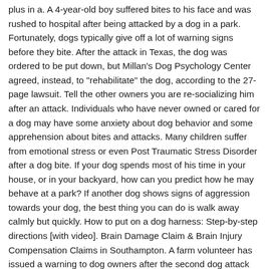plus in a. A 4-year-old boy suffered bites to his face and was rushed to hospital after being attacked by a dog in a park. Fortunately, dogs typically give off a lot of warning signs before they bite. After the attack in Texas, the dog was ordered to be put down, but Millan's Dog Psychology Center agreed, instead, to "rehabilitate" the dog, according to the 27-page lawsuit. Tell the other owners you are re-socializing him after an attack. Individuals who have never owned or cared for a dog may have some anxiety about dog behavior and some apprehension about bites and attacks. Many children suffer from emotional stress or even Post Traumatic Stress Disorder after a dog bite. If your dog spends most of his time in your house, or in your backyard, how can you predict how he may behave at a park? If another dog shows signs of aggression towards your dog, the best thing you can do is walk away calmly but quickly. How to put on a dog harness: Step-by-step directions [with video]. Brain Damage Claim & Brain Injury Compensation Claims in Southampton. A farm volunteer has issued a warning to dog owners after the second dog attack against their animals in a matter of months. MUTT ATTACK Glasgow psychology student fined after her dog named 'Psycho' mauled neighbour's pet